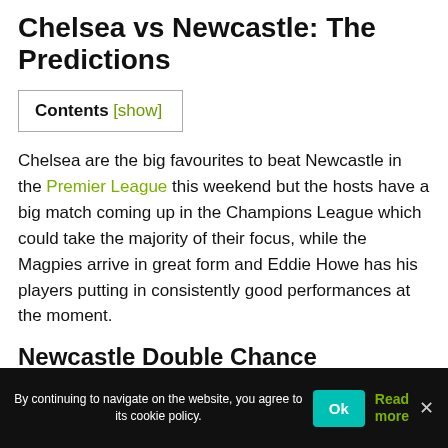Chelsea vs Newcastle: The Predictions
Contents [show]
Chelsea are the big favourites to beat Newcastle in the Premier League this weekend but the hosts have a big match coming up in the Champions League which could take the majority of their focus, while the Magpies arrive in great form and Eddie Howe has his players putting in consistently good performances at the moment.
Newcastle Double Chance
By continuing to navigate on the website, you agree to its cookie policy.